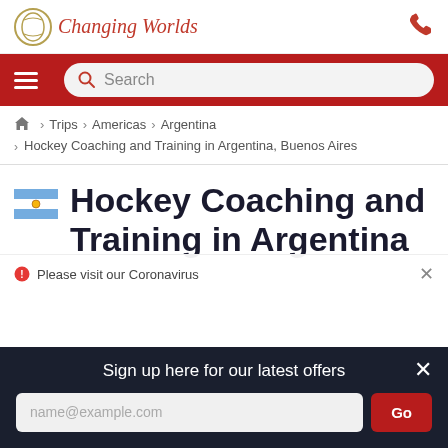Changing Worlds
Search
🏠 > Trips > Americas > Argentina
> Hockey Coaching and Training in Argentina, Buenos Aires
Hockey Coaching and Training in Argentina
Please visit our Coronavirus
Sign up here for our latest offers
name@example.com
Go